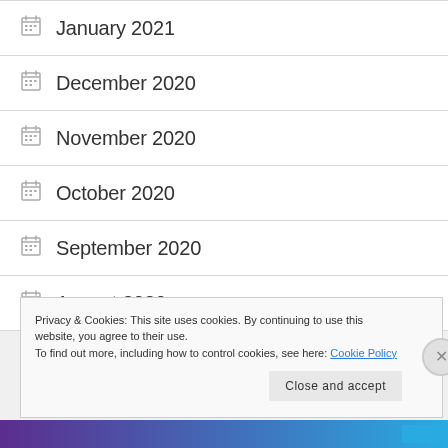January 2021
December 2020
November 2020
October 2020
September 2020
August 2020
Privacy & Cookies: This site uses cookies. By continuing to use this website, you agree to their use.
To find out more, including how to control cookies, see here: Cookie Policy
Close and accept